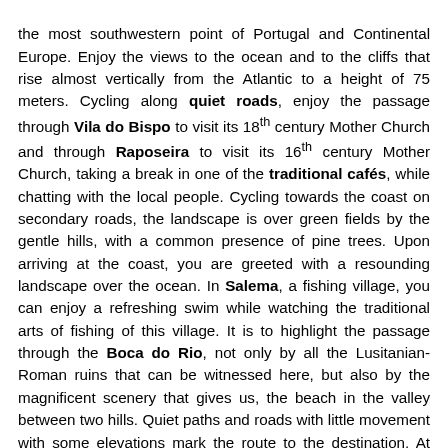the most southwestern point of Portugal and Continental Europe. Enjoy the views to the ocean and to the cliffs that rise almost vertically from the Atlantic to a height of 75 meters. Cycling along quiet roads, enjoy the passage through Vila do Bispo to visit its 18th century Mother Church and through Raposeira to visit its 16th century Mother Church, taking a break in one of the traditional cafés, while chatting with the local people. Cycling towards the coast on secondary roads, the landscape is over green fields by the gentle hills, with a common presence of pine trees. Upon arriving at the coast, you are greeted with a resounding landscape over the ocean. In Salema, a fishing village, you can enjoy a refreshing swim while watching the traditional arts of fishing of this village. It is to highlight the passage through the Boca do Rio, not only by all the Lusitanian-Roman ruins that can be witnessed here, but also by the magnificent scenery that gives us, the beach in the valley between two hills. Quiet paths and roads with little movement with some elevations mark the route to the destination. At Burgau beach, also known as the Portuguese Santorini, the traditional fishing gear such as Alcatruz, gillnet or the hook device can be observed. Take advantage of the passage on Praia da Luz to visit the Church of Luz de Lagos, the ruins of the Roman baths and to make sure that the ocean is refreshing for a swim. Cycling on a bike path surrounded by views of the sea and the cliffs, you